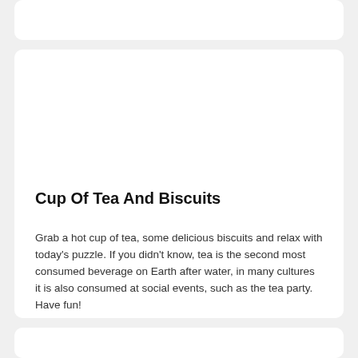Cup Of Tea And Biscuits
Grab a hot cup of tea, some delicious biscuits and relax with today's puzzle. If you didn't know, tea is the second most consumed beverage on Earth after water, in many cultures it is also consumed at social events, such as the tea party. Have fun!